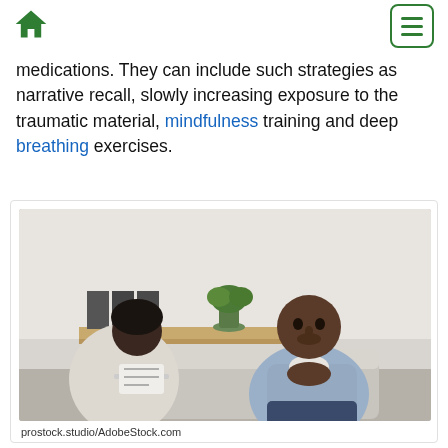Home icon and menu button
medications. They can include such strategies as narrative recall, slowly increasing exposure to the traumatic material, mindfulness training and deep breathing exercises.
[Figure (photo): A therapy session showing a man sitting on a couch with hands clasped, facing a therapist who is taking notes on a clipboard. Office setting with bookshelves and a plant in the background.]
prostock.studio/AdobeStock.com